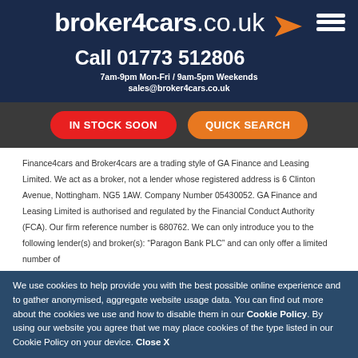broker4cars.co.uk
Call 01773 512806
7am-9pm Mon-Fri / 9am-5pm Weekends
sales@broker4cars.co.uk
[Figure (other): Hamburger menu icon (three white horizontal bars)]
IN STOCK SOON
QUICK SEARCH
Finance4cars and Broker4cars are a trading style of GA Finance and Leasing Limited. We act as a broker, not a lender whose registered address is 6 Clinton Avenue, Nottingham. NG5 1AW. Company Number 05430052. GA Finance and Leasing Limited is authorised and regulated by the Financial Conduct Authority (FCA). Our firm reference number is 680762. We can only introduce you to the following lender(s) and broker(s): “Paragon Bank PLC” and can only offer a limited number of
We use cookies to help provide you with the best possible online experience and to gather anonymised, aggregate website usage data. You can find out more about the cookies we use and how to disable them in our Cookie Policy. By using our website you agree that we may place cookies of the type listed in our Cookie Policy on your device. Close X